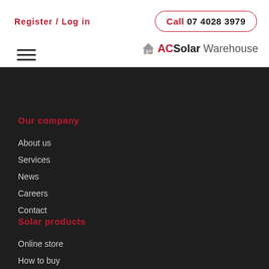Register / Log in
Call 07 4028 3979
[Figure (logo): Hamburger menu icon (three horizontal lines)]
[Figure (logo): AC Solar Warehouse logo with house icon]
Our company
About us
Services
News
Careers
Contact
Solar products
Online store
How to buy
AC Solar
Case studies